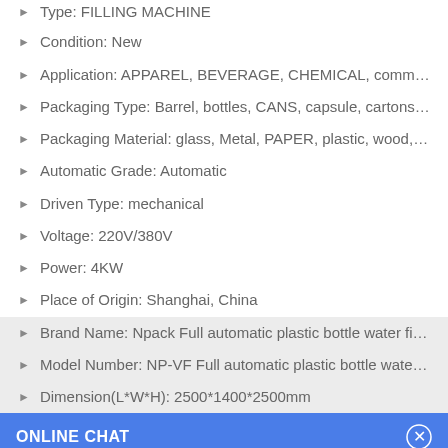Type: FILLING MACHINE
Condition: New
Application: APPAREL, BEVERAGE, CHEMICAL, commodity, Food, M...
Packaging Type: Barrel, bottles, CANS, capsule, cartons, Stand-...
Packaging Material: glass, Metal, PAPER, plastic, wood, Other
Automatic Grade: Automatic
Driven Type: mechanical
Voltage: 220V/380V
Power: 4KW
Place of Origin: Shanghai, China
Brand Name: Npack Full automatic plastic bottle water filling m...
Model Number: NP-VF Full automatic plastic bottle water filling ...
Dimension(L*W*H): 2500*1400*2500mm
ONLINE CHAT
[Figure (illustration): Chat widget with avatar of a woman named Cilina and a welcome message bubble saying 'Hi, welcome to visit our website.' with an orange scroll-up button.]
Hi,welcome to visit our website.
Cilina